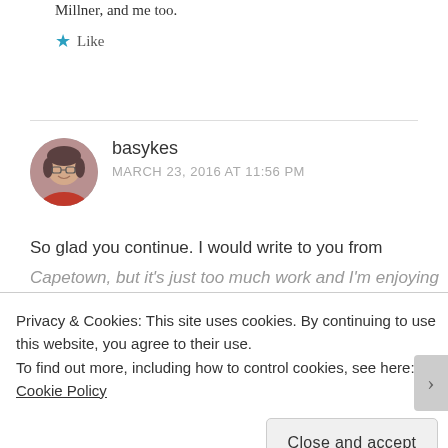Millner, and me too.
★ Like
[Figure (photo): Circular avatar photo of a woman with glasses and red top, smiling.]
basykes
MARCH 23, 2016 AT 11:56 PM
So glad you continue. I would write to you from
Capetown, but it's just too much work and I'm enjoying
Privacy & Cookies: This site uses cookies. By continuing to use this website, you agree to their use.
To find out more, including how to control cookies, see here: Cookie Policy
Close and accept